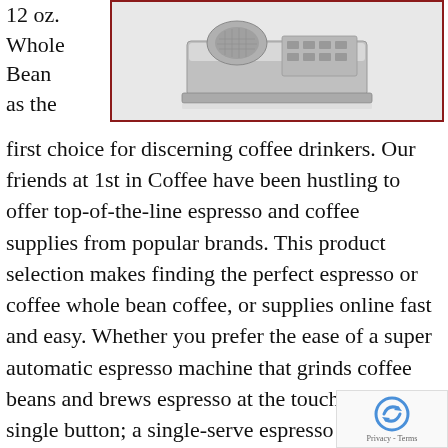12 oz. Whole Bean as the
[Figure (photo): A silver/grey espresso or coffee machine viewed from above at an angle, sitting on a reflective surface. The machine has a grinder and control panel visible.]
first choice for discerning coffee drinkers. Our friends at 1st in Coffee have been hustling to offer top-of-the-line espresso and coffee supplies from popular brands. This product selection makes finding the perfect espresso or coffee whole bean coffee, or supplies online fast and easy. Whether you prefer the ease of a super automatic espresso machine that grinds coffee beans and brews espresso at the touch of a single button; a single-serve espresso machine that uses pods or capsules and guarantees a great, consistent cup of coffee